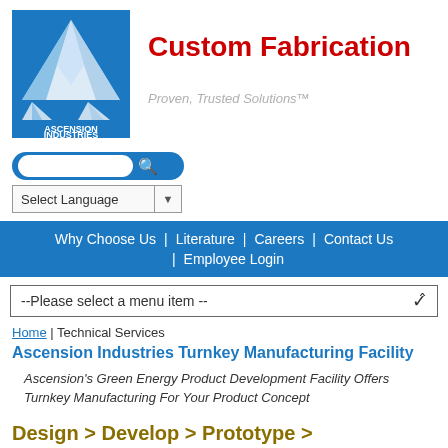[Figure (logo): Ascension Industries logo: blue triangular/mountain shape with white geometric facets, text 'ASCENSION INDUSTRIES' below in white on blue background]
Custom Fabrication
Proven, Trusted Solutions™
[Figure (screenshot): Search bar with blue rounded border and magnifying glass icon]
Select Language ▼
Why Choose Us | Literature | Careers | Contact Us | Employee Login
--Please select a menu item --
Home | Technical Services
Ascension Industries Turnkey Manufacturing Facility
Ascension's Green Energy Product Development Facility Offers Turnkey Manufacturing For Your Product Concept
Design > Develop > Prototype > Manufacture